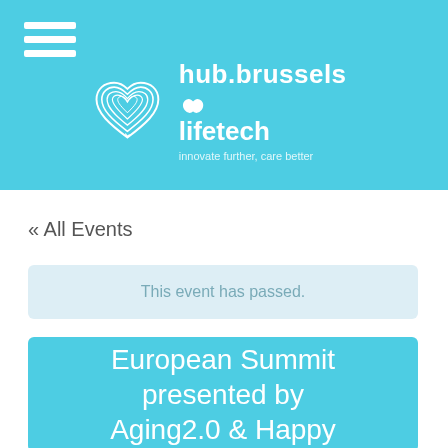[Figure (logo): hub.brussels lifetech logo with heart icon and tagline 'innovate further, care better' on teal background]
« All Events
This event has passed.
European Summit presented by Aging2.0 & Happy